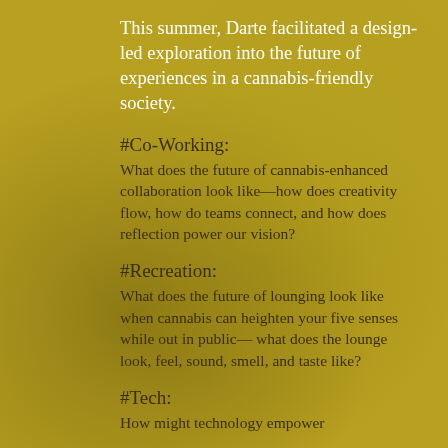This summer, Darte facilitated a design-led exploration into the future of experiences in a cannabis-friendly society.
#Co-Working:
What does the future of cannabis-enhanced collaboration look like—how does creativity flow, how do teams connect, and how does reflection power our vision?
#Recreation:
What does the future of lounging look like when cannabis can heighten your five senses while out in public— what does the lounge look, feel, sound, smell, and taste like?
#Tech:
How might technology empower...